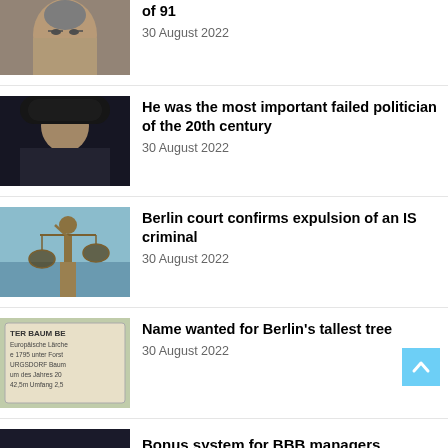[Figure (photo): Elderly man with glasses, grey hair, looking forward – partial crop at top]
of 91
30 August 2022
[Figure (photo): Man in black coat and hat, speaking or gesturing outdoors]
He was the most important failed politician of the 20th century
30 August 2022
[Figure (photo): Bronze statue of Lady Justice holding scales against blue sky]
Berlin court confirms expulsion of an IS criminal
30 August 2022
[Figure (photo): Tree plaque sign reading: ER BAUM... Europäische Lärche, 1795, URGSDORF, Baum des Jahres 20, 42.5m Umfang 2.5]
Name wanted for Berlin's tallest tree
30 August 2022
[Figure (photo): Partial image – dark image, partially cropped at bottom of page]
Bonus system for BBB managers